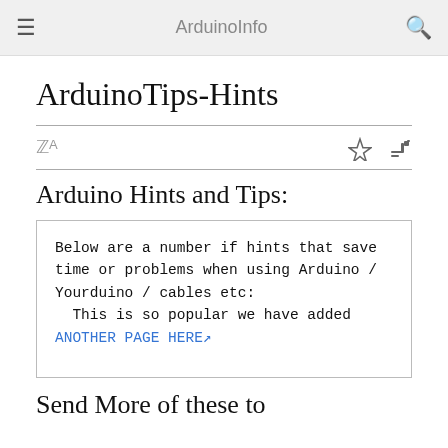ArduinoInfo
ArduinoTips-Hints
Arduino Hints and Tips:
Below are a number if hints that save time or problems when using Arduino / Yourduino / cables etc:
  This is so popular we have added
ANOTHER PAGE HERE
Send More of these to